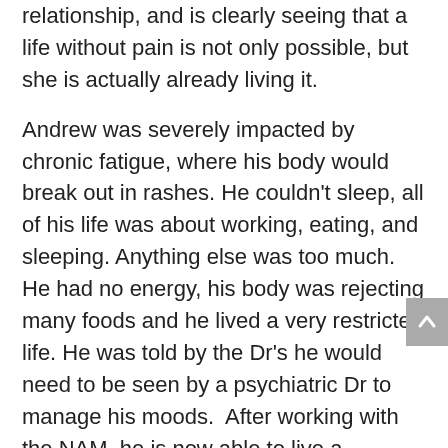relationship, and is clearly seeing that a life without pain is not only possible, but she is actually already living it.
Andrew was severely impacted by chronic fatigue, where his body would break out in rashes. He couldn't sleep, all of his life was about working, eating, and sleeping. Anything else was too much. He had no energy, his body was rejecting many foods and he lived a very restricted life. He was told by the Dr's he would need to be seen by a psychiatric Dr to manage his moods. After working with the NAM, he is now able to live a balanced life, he can work without getting exhausted, has minimal stress, and takes everything in stride.
He feels for the first time at peace with...